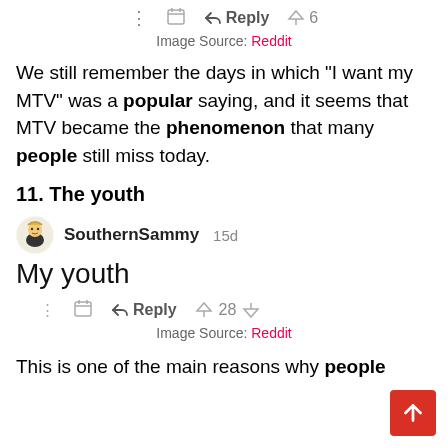[Figure (screenshot): Reddit comment action bar with dots, calendar, reply and upvote (6) icons]
Image Source: Reddit
We still remember the days in which “I want my MTV” was a popular saying, and it seems that MTV became the phenomenon that many people still miss today.
11. The youth
[Figure (screenshot): Reddit comment by SouthernSammy 15d saying 'My youth' with action bar (reply, upvote 28, downvote) and Image Source: Reddit]
This is one of the main reasons why people